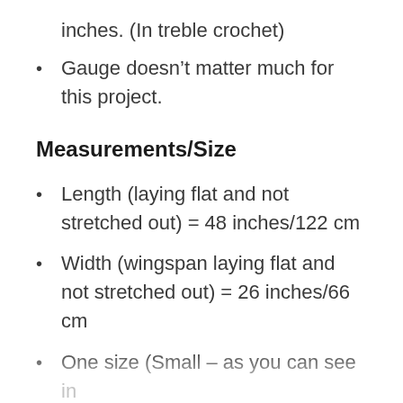inches. (In treble crochet)
Gauge doesn't matter much for this project.
Measurements/Size
Length (laying flat and not stretched out) = 48 inches/122 cm
Width (wingspan laying flat and not stretched out) = 26 inches/66 cm
One size (Small – as you can see in the photos)